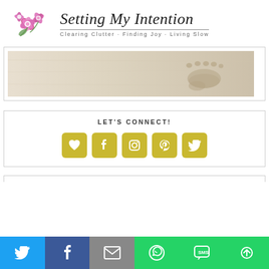[Figure (logo): Blog header with pink orchid flowers illustration and cursive title 'Setting My Intention' with tagline 'Clearing Clutter · Finding Joy · Living Slow']
[Figure (photo): A footprint in sand, beige/tan colored sand texture, wide banner image]
LET'S CONNECT!
[Figure (infographic): Row of 5 golden/yellow square icon buttons: heart, Facebook, Instagram, Pinterest, Twitter]
[Figure (infographic): Social share bar at bottom: Twitter (blue), Facebook (dark blue), Email (gray), WhatsApp (green), SMS (green), More (green)]